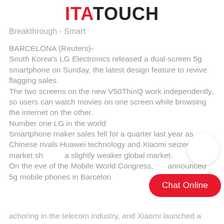ITATOUCH
Breakthrough - Smart
BARCELONA (Reuters)- South Korea's LG Electronics released a dual-screen 5g smartphone on Sunday, the latest design feature to revive flagging sales. The two screens on the new V50ThinQ work independently, so users can watch movies on one screen while browsing the internet on the other. Number one LG in the world Smartphone maker sales fell for a quarter last year as Chinese rivals Huawei technology and Xiaomi seized market sh... a slightly weaker global market. On the eve of the Mobile World Congress, ... announced 5g mobile phones in Barcelon...
...achoring in the telecom industry, and Xiaomi launched a...